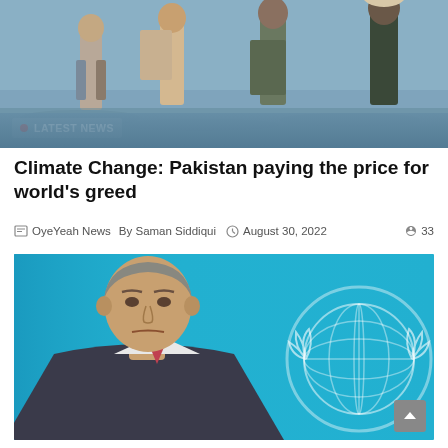[Figure (photo): People wading through floodwater carrying belongings, with LATEST NEWS badge overlay at bottom left]
Climate Change: Pakistan paying the price for world's greed
OyeYeah News  By Saman Siddiqui  August 30, 2022  33
[Figure (photo): UN Secretary-General speaking in front of United Nations emblem on blue background]